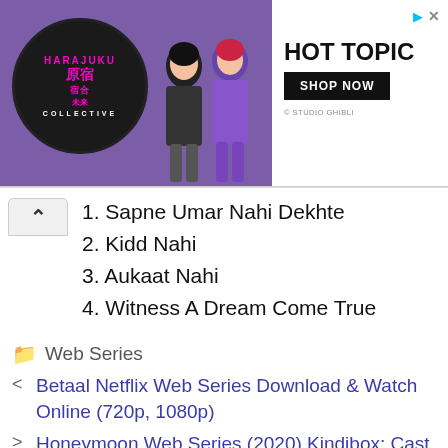[Figure (photo): Advertisement banner for Hot Topic Harajuku Collective, featuring two anime-style girls in purple outfits, a circular logo with pink text, and a 'SHOP NOW' button on white background with Studio Ghibli credit.]
1. Sapne Umar Nahi Dekhte
2. Kidd Nahi
3. Aukaat Nahi
4. Witness A Dream Come True
Web Series
Betaal Netflix Web Series Download & Watch Online (720p, 1080p)
Honeymoon Web Series (2020) Kindibox: Cast, All Episodes Online, Watch Online